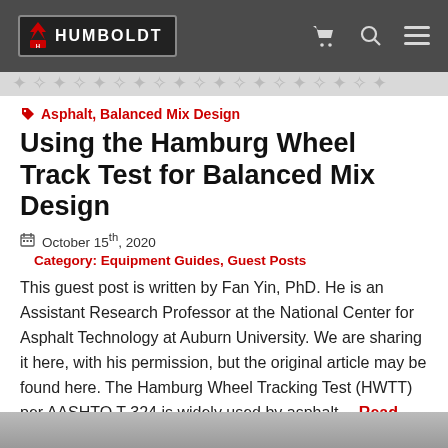Humboldt navigation bar with logo and icons
Asphalt, Balanced Mix Design
Using the Hamburg Wheel Track Test for Balanced Mix Design
October 15th, 2020   Category: Equipment Guides, Guest Posts
This guest post is written by Fan Yin, PhD. He is an Assistant Research Professor at the National Center for Asphalt Technology at Auburn University. We are sharing it here, with his permission, but the original article may be found here. The Hamburg Wheel Tracking Test (HWTT) per AASHTO T 324 is widely used by asphalt... Read more >